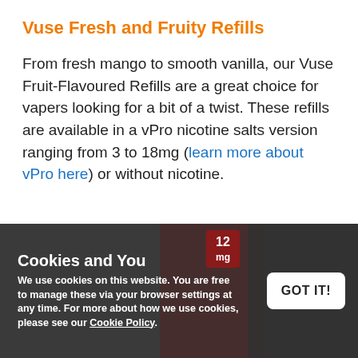Vuse Fresh and Fruity Refills
From fresh mango to smooth vanilla, our Vuse Fruit-Flavoured Refills are a great choice for vapers looking for a bit of a twist. These refills are available in a vPro nicotine salts version ranging from 3 to 18mg (learn more about vPro here) or without nicotine.
Cookies and You
We use cookies on this website. You are free to manage these via your browser settings at any time. For more about how we use cookies, please see our Cookie Policy.